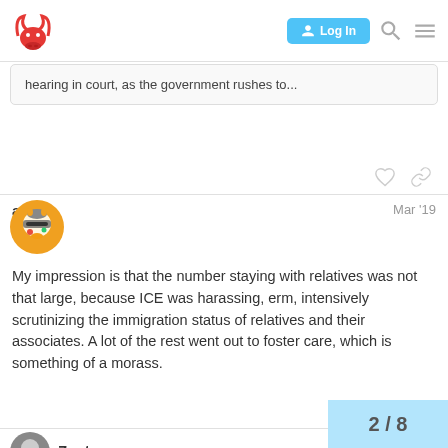[Figure (logo): Red bull/minotaur logo icon in top left navigation bar]
Log In button in navigation bar
hearing in court, as the government rushes to...
aaron
Mar '19
My impression is that the number staying with relatives was not that large, because ICE was harassing, erm, intensively scrutinizing the immigration status of relatives and their associates. A lot of the rest went out to foster care, which is something of a morass.
Zantax
2 / 8